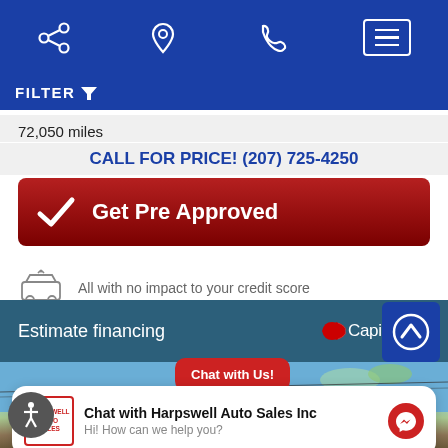[Figure (screenshot): Mobile website navigation bar with share, location, phone, and menu icons on blue background]
FILTER
72,050 miles
CALL FOR PRICE! (207) 725-4250
[Figure (screenshot): Get Pre Approved button in dark red with checkmark]
All with no impact to your credit score
Estimate financing
[Figure (logo): Capital One logo in white]
[Figure (photo): Harpswell Auto Sales building exterior photo]
Chat with Us!
Chat with Harpswell Auto Sales Inc
Hi! How can we help you?